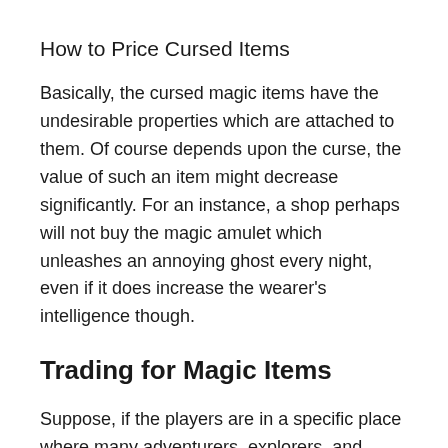How to Price Cursed Items
Basically, the cursed magic items have the undesirable properties which are attached to them. Of course depends upon the curse, the value of such an item might decrease significantly. For an instance, a shop perhaps will not buy the magic amulet which unleashes an annoying ghost every night, even if it does increase the wearer's intelligence though.
Trading for Magic Items
Suppose, if the players are in a specific place where many adventurers, explorers, and traders gather, they would may be capable